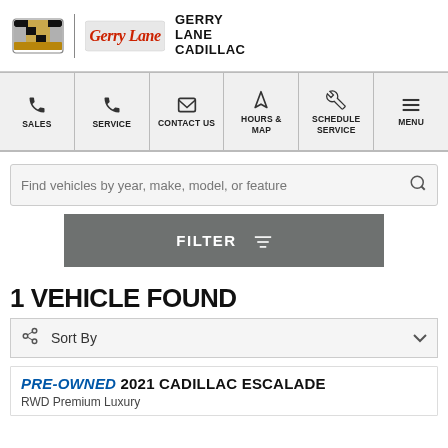[Figure (logo): Cadillac crest/shield logo, vertical divider, Gerry Lane script logo, and GERRY LANE CADILLAC text in header]
[Figure (screenshot): Navigation bar with icons and labels: SALES (phone), SERVICE (phone), CONTACT US (envelope), HOURS & MAP (arrow), SCHEDULE SERVICE (wrench), MENU (hamburger)]
Find vehicles by year, make, model, or feature
FILTER
1 VEHICLE FOUND
Sort By
PRE-OWNED 2021 CADILLAC ESCALADE
RWD Premium Luxury